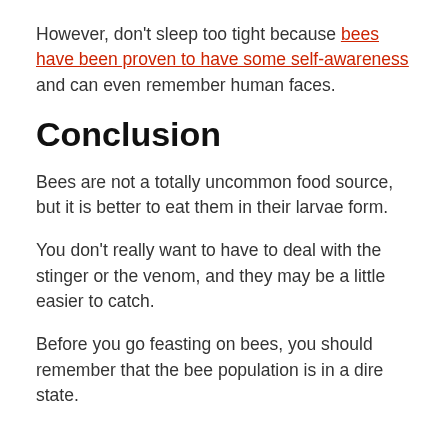However, don't sleep too tight because bees have been proven to have some self-awareness and can even remember human faces.
Conclusion
Bees are not a totally uncommon food source, but it is better to eat them in their larvae form.
You don't really want to have to deal with the stinger or the venom, and they may be a little easier to catch.
Before you go feasting on bees, you should remember that the bee population is in a dire state.